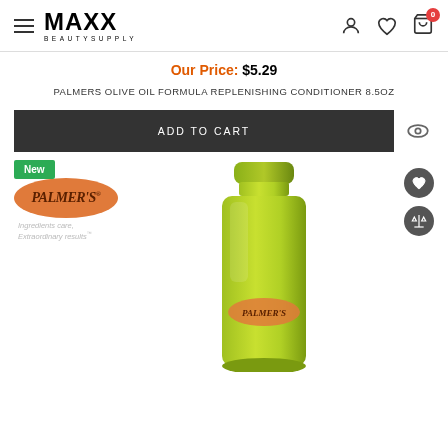MAXX BEAUTY SUPPLY
Our Price: $5.29
PALMERS OLIVE OIL FORMULA REPLENISHING CONDITIONER 8.5OZ
ADD TO CART
[Figure (photo): Palmer's Olive Oil Formula Replenishing Conditioner 8.5oz product bottle in yellow-green color with Palmer's logo, shown with New badge, heart icon and compare icon.]